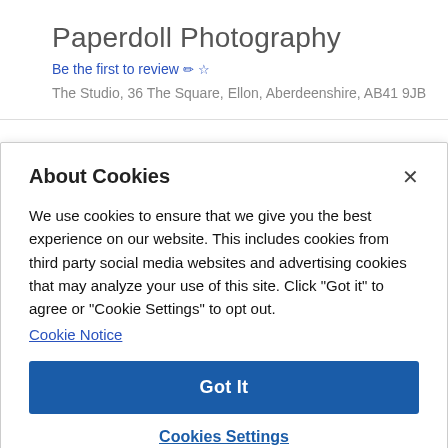Paperdoll Photography
Be the first to review ✏☆
The Studio, 36 The Square, Ellon, Aberdeenshire, AB41 9JB
About Cookies
We use cookies to ensure that we give you the best experience on our website. This includes cookies from third party social media websites and advertising cookies that may analyze your use of this site. Click "Got it" to agree or "Cookie Settings" to opt out.
Cookie Notice
Got It
Cookies Settings